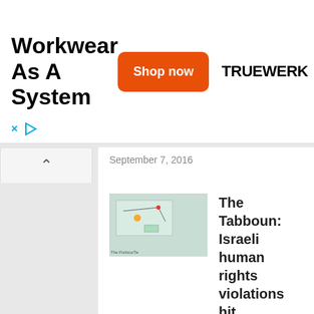[Figure (screenshot): Advertisement banner for TRUEWERK workwear with 'Workwear As A System' text, orange 'Shop now' button, and TRUEWERK logo]
September 7, 2016
[Figure (photo): Thumbnail image showing a map/diagram]
The Tabboun: Israeli human rights violations hit
June 30, 2016
[Figure (photo): Thumbnail image showing a green plant]
Tabboun: Himes questions troop deployment to Syria
November 3, 2015
The Tabboun: Dearborn removes statue of racist former mayor
September 29, 2015